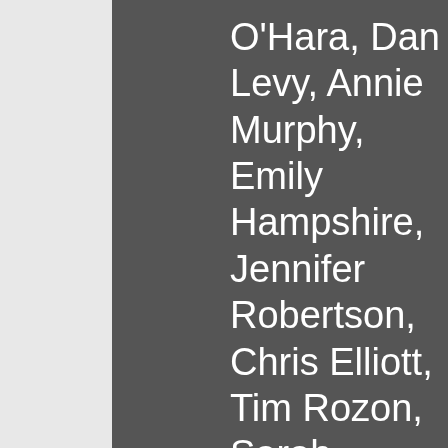O'Hara, Dan Levy, Annie Murphy, Emily Hampshire, Jennifer Robertson, Chris Elliott, Tim Rozon, Sarah